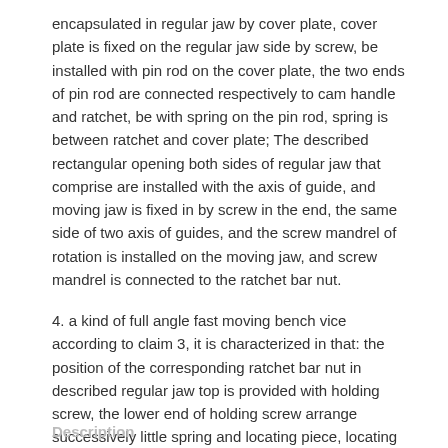encapsulated in regular jaw by cover plate, cover plate is fixed on the regular jaw side by screw, be installed with pin rod on the cover plate, the two ends of pin rod are connected respectively to cam handle and ratchet, be with spring on the pin rod, spring is between ratchet and cover plate; The described rectangular opening both sides of regular jaw that comprise are installed with the axis of guide, and moving jaw is fixed in by screw in the end, the same side of two axis of guides, and the screw mandrel of rotation is installed on the moving jaw, and screw mandrel is connected to the ratchet bar nut.
4. a kind of full angle fast moving bench vice according to claim 3, it is characterized in that: the position of the corresponding ratchet bar nut in described regular jaw top is provided with holding screw, the lower end of holding screw arrange successively little spring and locating piece, locating piece is against the last plane of ratchet bar nut, and the described two ends on plane on the ratchet bar nut that comprise are provided with the triangular groove that cooperates with locating piece.
Description